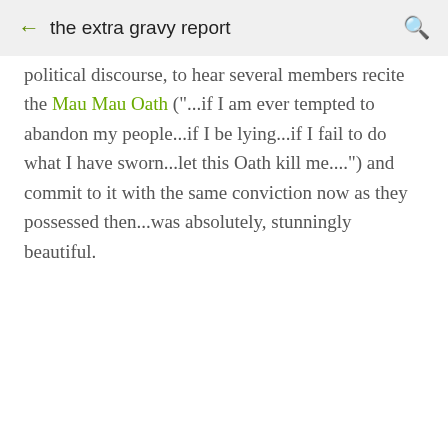the extra gravy report
political discourse, to hear several members recite the Mau Mau Oath ("...if I am ever tempted to abandon my people...if I be lying...if I fail to do what I have sworn...let this Oath kill me....") and commit to it with the same conviction now as they possessed then...was absolutely, stunningly beautiful.